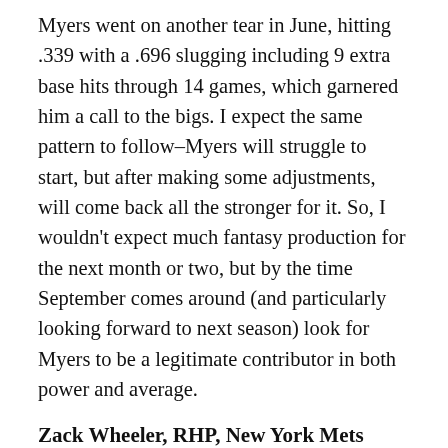Myers went on another tear in June, hitting .339 with a .696 slugging including 9 extra base hits through 14 games, which garnered him a call to the bigs. I expect the same pattern to follow–Myers will struggle to start, but after making some adjustments, will come back all the stronger for it. So, I wouldn't expect much fantasy production for the next month or two, but by the time September comes around (and particularly looking forward to next season) look for Myers to be a legitimate contributor in both power and average.
Zack Wheeler, RHP, New York Mets
Acquired from the San Francisco Giants for Carlos Beltran, Wheeler arrives on the scene and is immediately tied to the other young Mets phenom